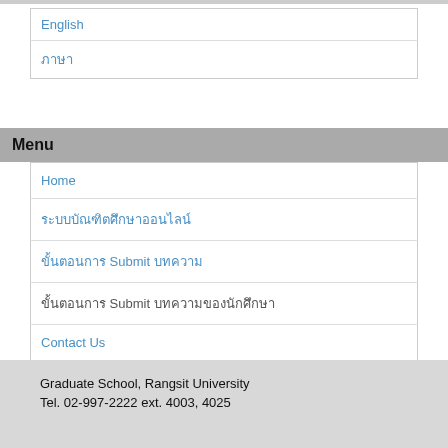| English |
| ภาษาไทย |
Menu
| Home |
| ระบบบัณฑิตศึกษา |
| ขั้นตอนการ Submit บทความ |
| ขั้นตอนการ Submit บทความของนักศึกษา |
| Contact Us |
Graduate School, Rangsit University
Tel. 02-997-2222 ext. 4003, 4025